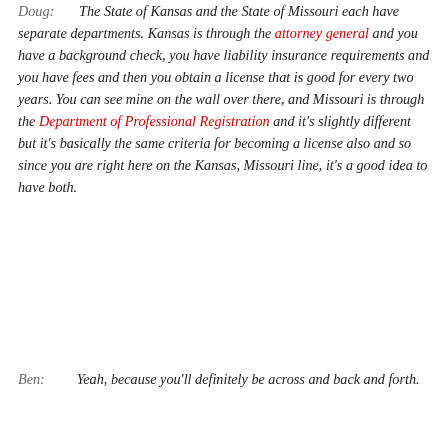Doug: The State of Kansas and the State of Missouri each have separate departments. Kansas is through the attorney general and you have a background check, you have liability insurance requirements and you have fees and then you obtain a license that is good for every two years. You can see mine on the wall over there, and Missouri is through the Department of Professional Registration and it's slightly different but it's basically the same criteria for becoming a license also and so since you are right here on the Kansas, Missouri line, it's a good idea to have both.
Ben: Yeah, because you'll definitely be across and back and forth.